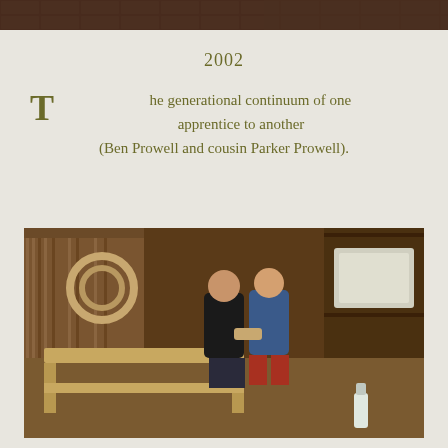[Figure (photo): Partial view of top photo — bricks or woodwork, cropped at top of page]
2002
The generational continuum of one apprentice to another (Ben Prowell and cousin Parker Prowell).
[Figure (photo): Two boys standing in a woodworking workshop, handling a small wooden object. Workshop interior with lumber, tools, circular wood pieces on wall. A wooden furniture piece on the workbench in front of them.]